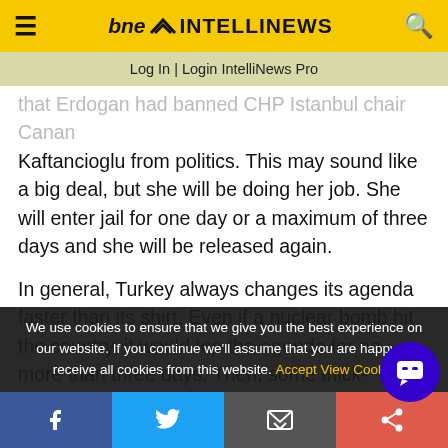bne INTELLINEWS
Log In | Login IntelliNews Pro
that Erdogan had banned CHP Istanbul chair Canan Kaftancioglu from politics. This may sound like a big deal, but she will be doing her job. She will enter jail for one day or a maximum of three days and she will be released again.
In general, Turkey always changes its agenda faster than its shirt. Even if a nuclear bomb hit the country, it would top the agenda for no more than three days. Then, some thick-headed brawl among politicians
We use cookies to ensure that we give you the best experience on our website. If you continue we'll assume that you are happy to receive all cookies from this website. Accept  View Cookie
Facebook | Twitter | Email | Share